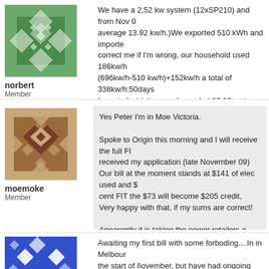[Figure (illustration): Avatar icon for user norbert - geometric diamond pattern in green/teal tones]
norbert
Member
We have a 2.52 kw system (12xSP210) and from Nov 0... average 13.92 kw/h.)We exported 510 kWh and importe... correct me if I'm wrong, our household used 186kw/h (696kw/h-510 kw/h)+152kw/h a total of 338kw/h:50days... Import electricity was charged at 16.12cents kWh, expo... power bill (including 25% origin green)was $ 33.63 credi...
Posted Sunday 17 Jan 2010 @ 4:08:52 am from IP #
[Figure (illustration): Avatar icon for user moemoke - geometric diamond pattern in brown/maroon tones]
moemoke
Member
Yes Peter I'm in Moe Victoria.

Spoke to Origin this morning and I will receive the full FI... received my application (late November 09)
Our bill at the moment stands at $141 of elec used and ... cent FIT the $73 will become $205 credit,
Very happy with that, if my sums are correct!

Apparently it is taking the power retailers a while to char... meters, they are doing it one area at a time so to speak,
Posted Monday 18 Jan 2010 @ 11:16:24 am from IP #
[Figure (illustration): Avatar icon for third user - blue geometric diamond pattern]
Awaiting my first bill with some forboding....In in Melbour... the start of November, but have had ongoing headaches... motor, and also (oddly) the Bluetooth Sunny Beam (whi...